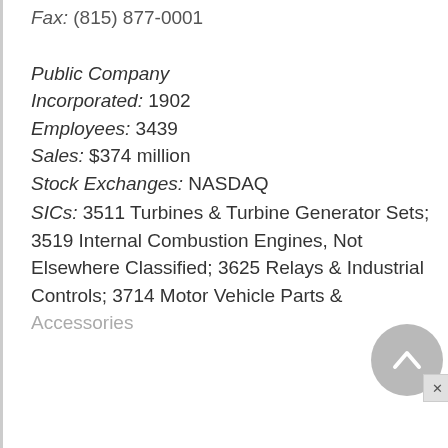Fax: (815) 877-0001
Public Company
Incorporated: 1902
Employees: 3439
Sales: $374 million
Stock Exchanges: NASDAQ
SICs: 3511 Turbines & Turbine Generator Sets; 3519 Internal Combustion Engines, Not Elsewhere Classified; 3625 Relays & Industrial Controls; 3714 Motor Vehicle Parts & Accessories